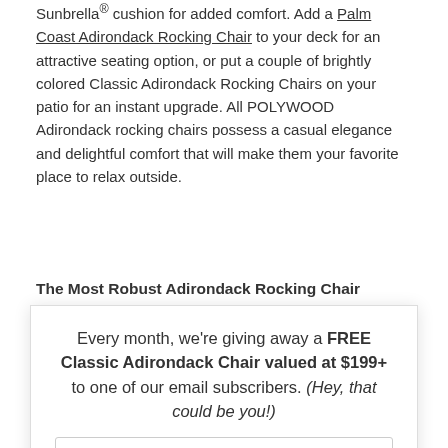Sunbrella® cushion for added comfort. Add a Palm Coast Adirondack Rocking Chair to your deck for an attractive seating option, or put a couple of brightly colored Classic Adirondack Rocking Chairs on your patio for an instant upgrade. All POLYWOOD Adirondack rocking chairs possess a casual elegance and delightful comfort that will make them your favorite place to relax outside.
The Most Robust Adirondack Rocking Chair Material
[Figure (screenshot): Modal popup with close X button, email signup form with coral/salmon SIGN ME UP button and disclaimer text]
Every month, we're giving away a FREE Classic Adirondack Chair valued at $199+ to one of our email subscribers. (Hey, that could be you!)
Enter your email address
SIGN ME UP!
One (1) winner will be selected at random at the end of every month and contacted by email. U.S. entrants only.